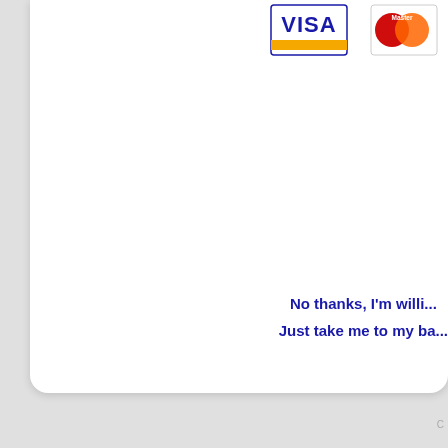[Figure (logo): VISA credit card logo with blue text and orange bar on white background with blue border]
[Figure (logo): Mastercard logo with red and yellow overlapping circles, partially cropped]
No thanks, I'm willi...
Just take me to my ba...
C